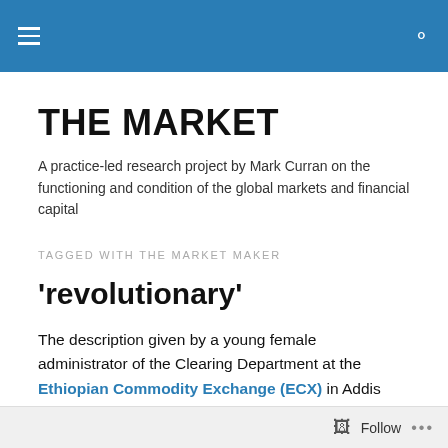THE MARKET
THE MARKET
A practice-led research project by Mark Curran on the functioning and condition of the global markets and financial capital
TAGGED WITH THE MARKET MAKER
‘revolutionary’
The description given by a young female administrator of the Clearing Department at the Ethiopian Commodity Exchange (ECX) in Addis Abeba, in response to a question of why she was working at the ECX, the
Follow ...